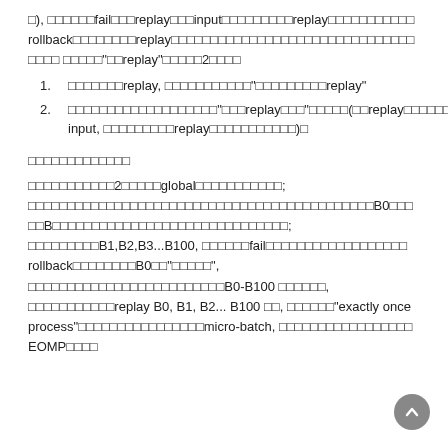□), □□□□□□fail□□□replay□□□input□□□□□□□□□replay□□□□□□□□□□□ rollback□□□□□□□□replay□□□□□□□□□□□□□□□□□□□□□□□□□□□□□□□□□□□ □□□□□"□□replay"□□□□□2□□□□
□□□□□□□replay, □□□□□□□□□□□"□□□□□□□□□replay"
□□□□□□□□□□□□□□□□□□□"□□□replay□□□"□□□□□(□□replay□□□□□□□□□□□□□□□□□□□□□ input, □□□□□□□□□replay□□□□□□□□□□□)□
□□□□□□□□□□□□□
□□□□□□□□□□□2□□□□□global□□□□□□□□□□□; □□□□□□□□□□□□□□□□□□□□□□□□□□□□□□□□□□□□□□□□□□□□B0□□□□□B□□□□□□□□□□□□□□□□□□□□□□□□□□□□□□; □□□□□□□□□B1,B2,B3...B100, □□□□□□fail□□□□□□□□□□□□□□□□□□ rollback□□□□□□□□B0□□"□□□□□", □□□□□□□□□□□□□□□□□□□□□□□□□B0-B100 □□□□□□, □□□□□□□□□□□replay B0, B1, B2... B100 □□, □□□□□□"exactly once process"□□□□□□□□□□□□□□□□micro-batch, □□□□□□□□□□□□□□□□□ EOMP□□□□